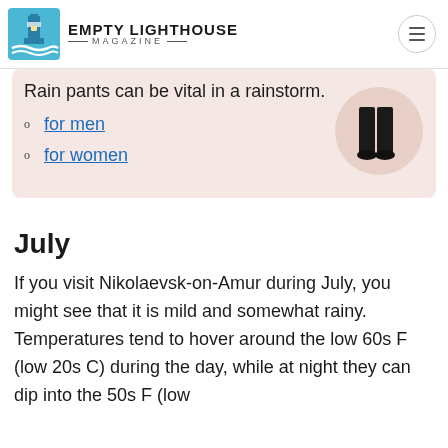EMPTY LIGHTHOUSE MAGAZINE
Rain pants can be vital in a rainstorm.
for men
for women
July
If you visit Nikolaevsk-on-Amur during July, you might see that it is mild and somewhat rainy. Temperatures tend to hover around the low 60s F (low 20s C) during the day, while at night they can dip into the 50s F (low